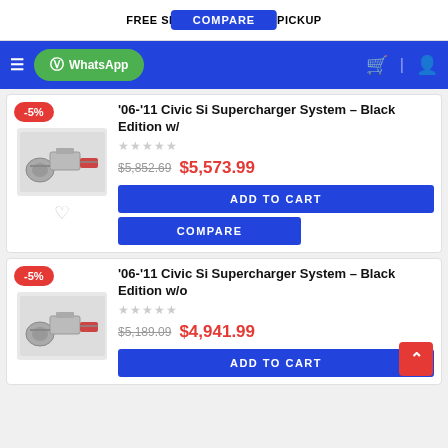FREE SHIPPING & STORE PICKUP
COMPARE
WhatsApp
'06-'11 Civic Si Supercharger System – Black Edition w/
Original price: $5,852.69  Sale price: $5,573.99
ADD TO CART
COMPARE
'06-'11 Civic Si Supercharger System – Black Edition w/o
Original price: $5,189.09  Sale price: $4,941.99
ADD TO CART